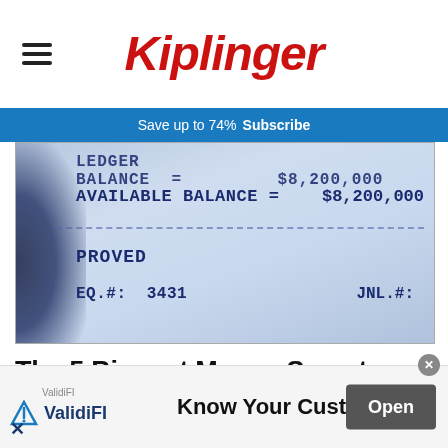Kiplinger
Save up to 74%  Subscribe
[Figure (photo): A bank receipt showing LEDGER BALANCE and AVAILABLE BALANCE of $8,200,000, with APPROVED status and SEQ.#: 3431, JNL.#:]
The 5 Biggest Money Secrets Most Rich People Won't Tell You
The Penny Hoarder
[Figure (other): ValidiFI advertisement banner showing logo, tagline 'Know Your Customer' and an Open button]